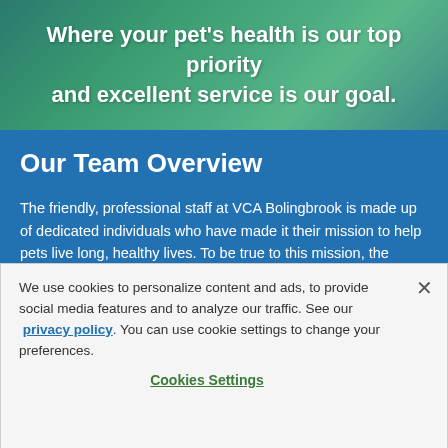Where your pet's health is our top priority and excellent service is our goal.
Our Team Overview
The friendly, professional staff at VCA Bolingbrook is made up of dedicated individuals who have made it their mission to help pets live long, healthy lives. To be true to this mission, the hospital team relies on several individuals, each equally important in helping us deliver the best patient and client experience for both you and your
We use cookies to personalize content and ads, to provide social media features and to analyze our traffic. See our privacy policy. You can use cookie settings to change your preferences.
Cookies Settings